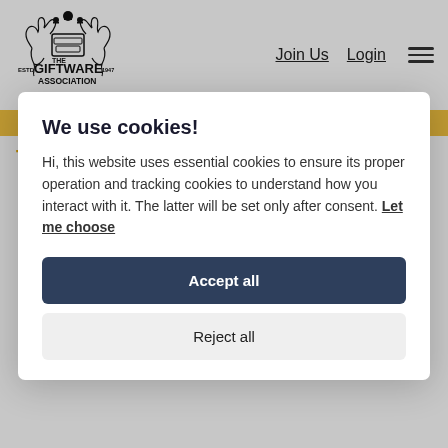[Figure (logo): The Giftware Association logo with heraldic crest, two horses, 'ESTD THE GIFTWARE 1947 ASSOCIATION' text]
Join Us   Login   ☰
We use cookies!
Hi, this website uses essential cookies to ensure its proper operation and tracking cookies to understand how you interact with it. The latter will be set only after consent. Let me choose
Accept all
Reject all